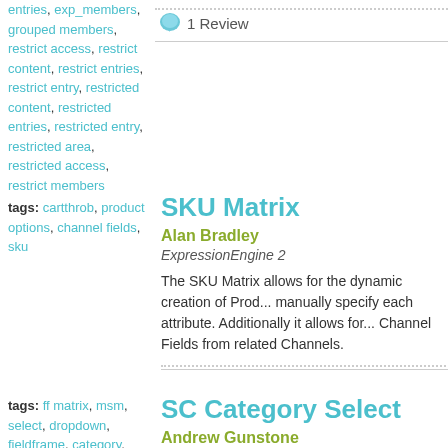entries, exp_members, grouped members, restrict access, restrict content, restrict entries, restrict entry, restricted content, restricted entries, restricted entry, restricted area, restricted access, restrict members
1 Review
tags: cartthrob, product options, channel fields, sku
SKU Matrix
Alan Bradley
ExpressionEngine 2
The SKU Matrix allows for the dynamic creation of Prod... manually specify each attribute. Additionally it allows for... Channel Fields from related Channels.
tags: ff matrix, msm, select, dropdown, fieldframe, category, fieldtype, categories, list
SC Category Select
Andrew Gunstone
ExpressionEngine 1.x